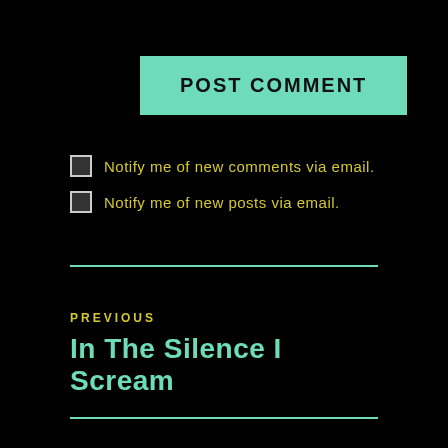[Figure (other): POST COMMENT button with teal/mint green background and bold black uppercase text]
Notify me of new comments via email.
Notify me of new posts via email.
PREVIOUS
In The Silence I Scream
NEXT
The Gift